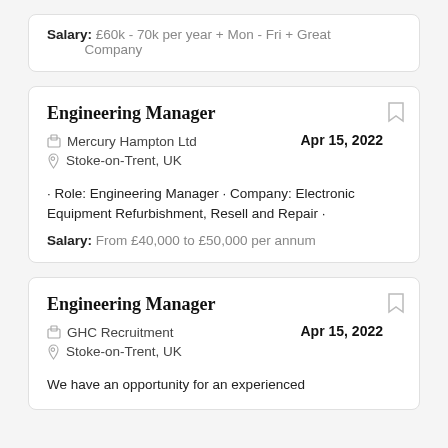Salary: £60k - 70k per year + Mon - Fri + Great Company
Engineering Manager
Mercury Hampton Ltd
Stoke-on-Trent, UK
Apr 15, 2022
· Role: Engineering Manager · Company: Electronic Equipment Refurbishment, Resell and Repair ·
Salary: From £40,000 to £50,000 per annum
Engineering Manager
GHC Recruitment
Stoke-on-Trent, UK
Apr 15, 2022
We have an opportunity for an experienced